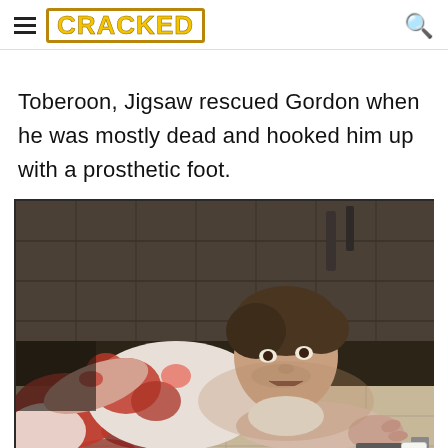CRACKED (logo with hamburger menu and search icon)
Toberoon, Jigsaw rescued Gordon when he was mostly dead and hooked him up with a prosthetic foot.
[Figure (photo): A bloody man in a white t-shirt crawling on a tiled floor, looking distressed, in a scene from the Saw film franchise.]
X